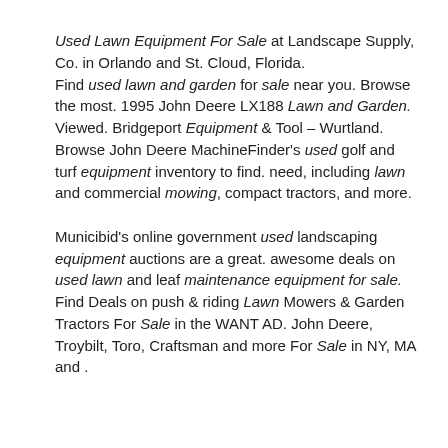Used Lawn Equipment For Sale at Landscape Supply, Co. in Orlando and St. Cloud, Florida. Find used lawn and garden for sale near you. Browse the most. 1995 John Deere LX188 Lawn and Garden. Viewed. Bridgeport Equipment & Tool – Wurtland. Browse John Deere MachineFinder's used golf and turf equipment inventory to find. need, including lawn and commercial mowing, compact tractors, and more.
Municibid's online government used landscaping equipment auctions are a great. awesome deals on used lawn and leaf maintenance equipment for sale. Find Deals on push & riding Lawn Mowers & Garden Tractors For Sale in the WANT AD. John Deere, Troybilt, Toro, Craftsman and more For Sale in NY, MA and .